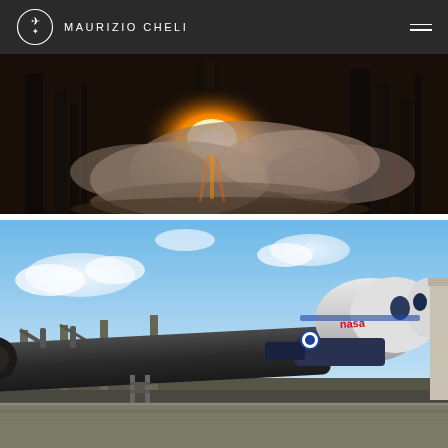MAURIZIO CHELI
[Figure (photo): Rocket launch at night with bright engine flames and large smoke cloud billowing around launch pad structures]
[Figure (photo): SpaceX Falcon 9 rocket with NASA Crew Dragon capsule laying horizontal on transport vehicle under blue sky with clouds, NASA logo visible on capsule]